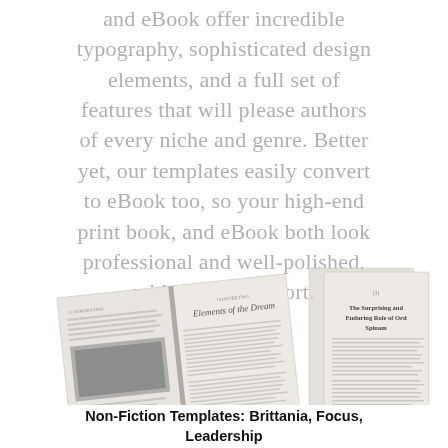and eBook offer incredible typography, sophisticated design elements, and a full set of features that will please authors of every niche and genre. Better yet, our templates easily convert to eBook too, so your high-end print book, and eBook both look professional and well-polished, with minimal effort.
[Figure (photo): Three book mockups fanned out showing open books with interior pages — Non-Fiction Templates: Brittania, Focus, Leadership]
Non-Fiction Templates: Brittania, Focus, Leadership